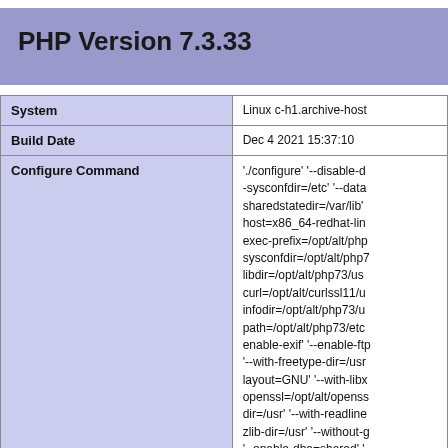PHP Version 7.3.33
| Key | Value |
| --- | --- |
| System | Linux c-h1.archive-host... |
| Build Date | Dec 4 2021 15:37:10 |
| Configure Command | './configure' '--disable-d... -sysconfdir=/etc' '--data... sharedstatedir=/var/lib'... host=x86_64-redhat-lin... exec-prefix=/opt/alt/php... sysconfdir=/opt/alt/php7... libdir=/opt/alt/php73/us... curl=/opt/alt/curlssl11/u... infodir=/opt/alt/php73/u... path=/opt/alt/php73/etc... enable-exif' '--enable-ftp... '--with-freetype-dir=/us... layout=GNU' '--with-libx... openssl=/opt/alt/openss... dir=/usr' '--with-readline... zlib-dir=/usr' '--without-g... '--enable-dba=shared'... enable-json=shared' '--... enable-pcntl' '--enable-p... enable-sockets=shared... sysyshm=shared' '-en... |